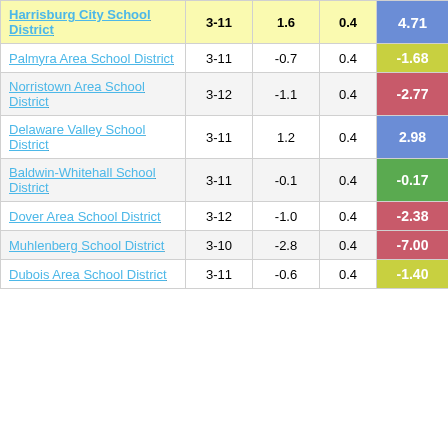|  |  |  |  |  |
| --- | --- | --- | --- | --- |
| Harrisburg City School District | 3-11 | 1.6 | 0.4 | 4.71 |
| Palmyra Area School District | 3-11 | -0.7 | 0.4 | -1.68 |
| Norristown Area School District | 3-12 | -1.1 | 0.4 | -2.77 |
| Delaware Valley School District | 3-11 | 1.2 | 0.4 | 2.98 |
| Baldwin-Whitehall School District | 3-11 | -0.1 | 0.4 | -0.17 |
| Dover Area School District | 3-12 | -1.0 | 0.4 | -2.38 |
| Muhlenberg School District | 3-10 | -2.8 | 0.4 | -7.00 |
| Dubois Area School District | 3-11 | -0.6 | 0.4 | -1.40 |